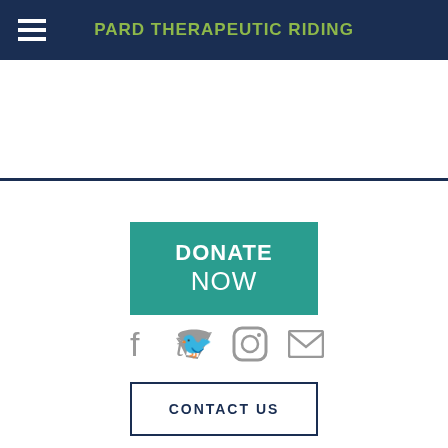PARD THERAPEUTIC RIDING
[Figure (other): Donate Now button - teal/green rectangle with white bold text DONATE NOW]
[Figure (other): Social media icons row: Facebook, Twitter, Instagram, Email - all in gray]
[Figure (other): Contact Us button - white rectangle with dark navy blue border and text CONTACT US]